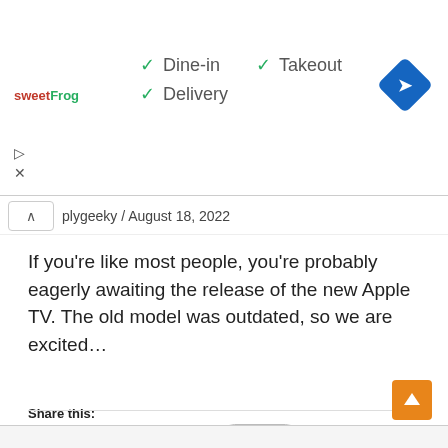[Figure (screenshot): SweetFrog advertisement banner showing Dine-in, Takeout, and Delivery options with checkmarks, sweetFrog logo, and a blue navigation/directions icon]
plygeeky / August 18, 2022
If you're like most people, you're probably eagerly awaiting the release of the new Apple TV. The old model was outdated, so we are excited…
READ MORE »
Share this:
Share 2   Tweet   More